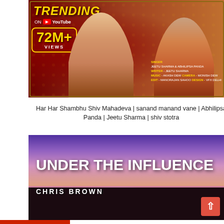[Figure (photo): YouTube thumbnail for Har Har Shambhu Shiv Mahadeva song. Dark red/maroon background with decorative border. Shows '72M+ VIEWS' and 'TRENDING ON YouTube'. Features two singers - Abhilipsa Panda and Jeetu Sharma. Credits: Writer Jeetu Sharma, Music Akash Dew, Camera Monish Dew, Edit Manorajan Sahoo, Design VFX Delhi.]
Har Har Shambhu Shiv Mahadeva | sanand manand vane | Abhilipsa Panda | Jeetu Sharma | shiv stotra
[Figure (photo): YouTube thumbnail for 'Under the Influence' by Chris Brown. Purple and pink sunset sky background with silhouette of buildings/landscape at bottom. Large white bold text reads 'UNDER THE INFLUENCE' with 'CHRIS BROWN' below it.]